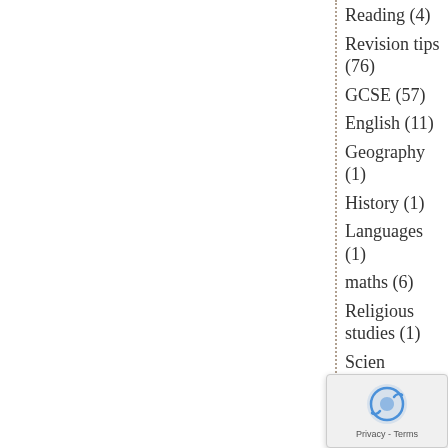Reading (4)
Revision tips (76)
GCSE (57)
English (11)
Geography (1)
History (1)
Languages (1)
maths (6)
Religious studies (1)
Science
Physics